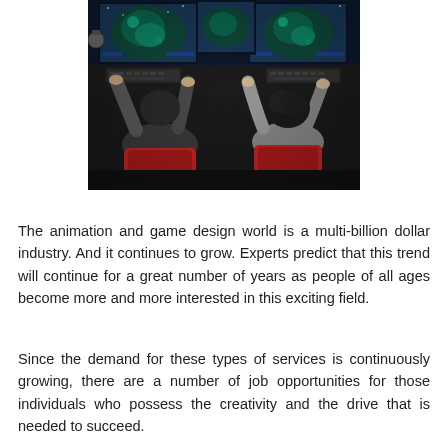[Figure (photo): Two people sitting at gaming computers with multiple monitors showing a video game with a space/fantasy map. The players are viewed from behind; one wears a red-backed chair. The setting appears to be a gaming center or esports arena with dark lighting.]
The animation and game design world is a multi-billion dollar industry. And it continues to grow. Experts predict that this trend will continue for a great number of years as people of all ages become more and more interested in this exciting field.
Since the demand for these types of services is continuously growing, there are a number of job opportunities for those individuals who possess the creativity and the drive that is needed to succeed.